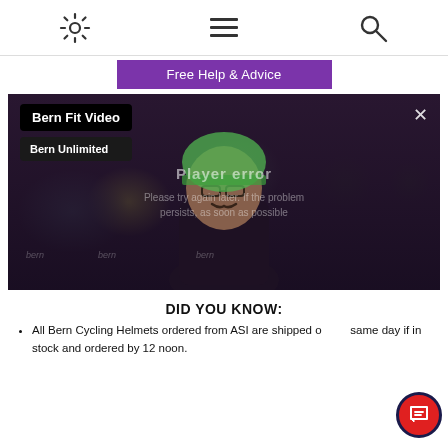[settings icon] [menu icon] [search icon]
Free Help & Advice
[Figure (screenshot): Video player showing a person wearing a green Bern helmet surrounded by other helmets on display. The video has a player error overlay. Labels read 'Bern Fit Video' and 'Bern Unlimited'. A close (×) button appears top right.]
DID YOU KNOW:
All Bern Cycling Helmets ordered from ASI are shipped on same day if in stock and ordered by 12 noon.